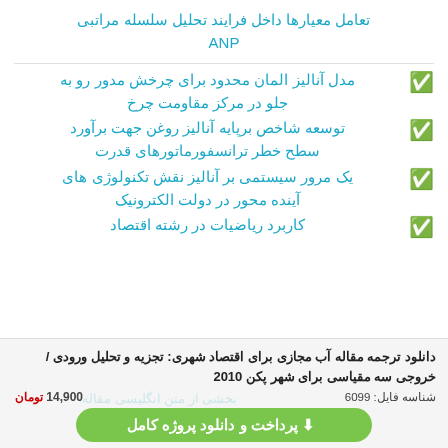تعامل معیارها داخل فرایند تحلیل سلسله مراتبی ANP
مدل آنالیز المان محدود برای چرخش مدور رو به جلو در مرکز مقاومت چرخ
توسعه شاخص برپایه آنالیز روغن جهت برآورد سطح خطر ترانسفورماتورهای قدرت
یک مرور سیستمی بر آنالیز نقش تکنولوژی های آینده محور در دولت الکترونیک
کاربرد ریاضیات در رشته اقتصاد
دانلود ترجمه مقاله آب مجازی برای اقتصاد شهری: تجزیه و تحلیل ورودی / خروجی سه مقیاسی برای شهر پکن 2010
14,900 تومان   شناسه فایل: 6099
پرداخت و دانلود پروژه کامل